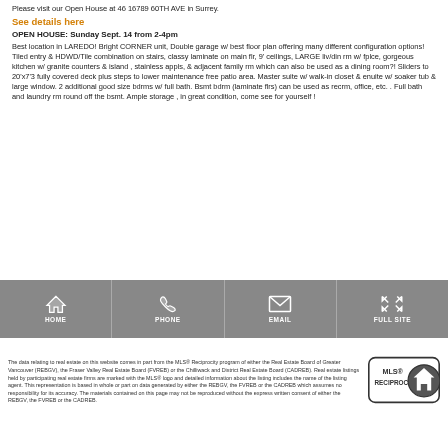Please visit our Open House at 46 16789 60TH AVE in Surrey.
See details here
OPEN HOUSE: Sunday Sept. 14 from 2-4pm
Best location in LAREDO! Bright CORNER unit, Double garage w/ best floor plan offering many different configuration options! Tiled entry & HDWD/Tile combination on stairs, classy laminate on main flr, 9' ceilings, LARGE liv/din rm w/ fplce, gorgeous kitchen w/ granite counters & island , stainless appls, & adjacent family rm which can also be used as a dining room?! Sliders to 20'x7'3 fully covered deck plus steps to lower maintenance free patio area. Master suite w/ walk-in closet & enuite w/ soaker tub & large window. 2 additional good size bdrms w/ full bath. Bsmt bdrm (laminate flrs) can be used as recrm, office, etc. . Full bath and laundry rm round off the bsmt. Ample storage , in great condition, come see for yourself !
[Figure (infographic): Navigation bar with four icons: HOME (house icon), PHONE (phone icon), EMAIL (envelope icon), FULL SITE (expand icon)]
The data relating to real estate on this website comes in part from the MLS® Reciprocity program of either the Real Estate Board of Greater Vancouver (REBGV), the Fraser Valley Real Estate Board (FVREB) or the Chilliwack and District Real Estate Board (CADREB). Real estate listings held by participating real estate firms are marked with the MLS® logo and detailed information about the listing includes the name of the listing agent. This representation is based in whole or part on data generated by either the REBGV, the FVREB or the CADREB which assumes no responsibility for its accuracy. The materials contained on this page may not be reproduced without the express written consent of either the REBGV, the FVREB or the CADREB.
[Figure (logo): MLS Reciprocity logo with house icon]